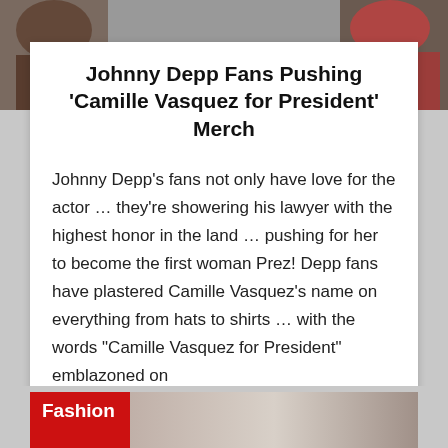[Figure (photo): Top photo strip showing people, partially cropped]
Johnny Depp Fans Pushing ‘Camille Vasquez for President’ Merch
Johnny Depp’s fans not only have love for the actor … they’re showering his lawyer with the highest honor in the land … pushing for her to become the first woman Prez! Depp fans have plastered Camille Vasquez’s name on everything from hats to shirts … with the words “Camille Vasquez for President” emblazoned on
… read more
June 18, 2022
[Figure (photo): Bottom image strip with Fashion label in red and partial portrait photo]